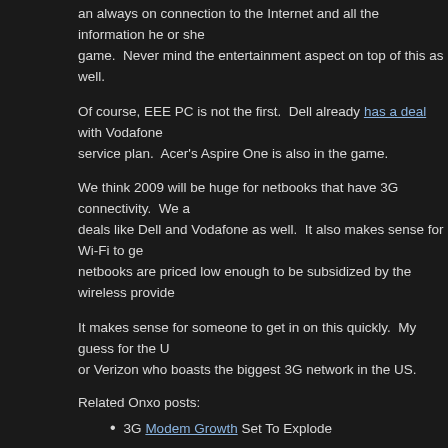an always on connection to the Internet and all the information he or she game. Never mind the entertainment aspect on top of this as well.
Of course, EEE PC is not the first. Dell already has a deal with Vodafone service plan. Acer's Aspire One is also in the game.
We think 2009 will be huge for netbooks that have 3G connectivity. We a deals like Dell and Vodafone as well. It also makes sense for Wi-Fi to ge netbooks are priced low enough to be subsidized by the wireless provide
It makes sense for someone to get in on this quickly. My guess for the U or Verizon who boasts the biggest 3G network in the US.
Related Onxo posts:
3G Modem Growth Set To Explode
Should Apple offer wireless access option to Macbooks?
Source: T3
at September 25, 2008
Labels: 3G, asus, dell, mobile, netbook, wireless
No comments: